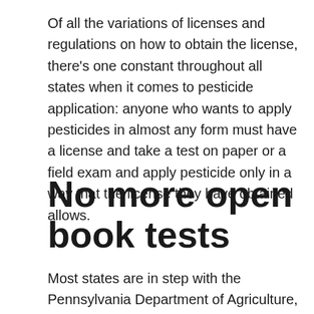Of all the variations of licenses and regulations on how to obtain the license, there’s one constant throughout all states when it comes to pesticide application: anyone who wants to apply pesticides in almost any form must have a license and take a test on paper or a field exam and apply pesticide only in a way that the license they have obtained allows.
No more open book tests
Most states are in step with the Pennsylvania Department of Agriculture, which announced a new policy on pesticide applicator